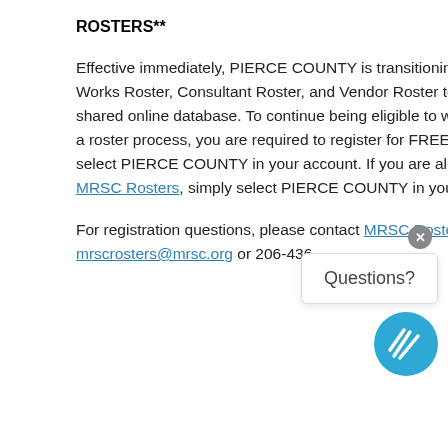ROSTERS**
Effective immediately, PIERCE COUNTY is transitioning our Small Public Works Roster, Consultant Roster, and Vendor Roster to the MRSC Rosters shared online database. To continue being eligible to work on projects using a roster process, you are required to register for FREE at MRSC Rosters and select PIERCE COUNTY in your account. If you are already a member of MRSC Rosters, simply select PIERCE COUNTY in your account.
For registration questions, please contact MRSC Rosters at mrscrosters@mrsc.org or 206-436-
[Figure (other): Chat widget with close button (x), 'Questions?' label box, and MRSC circular logo icon in blue]